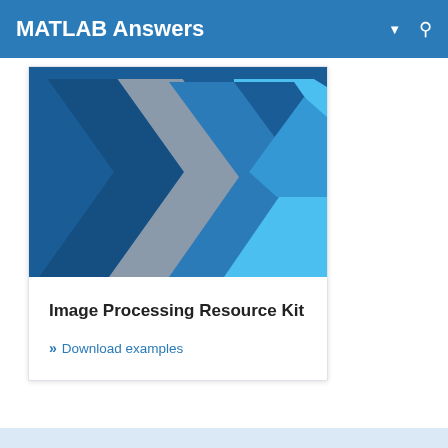MATLAB Answers
[Figure (illustration): Decorative MATLAB logo-style image with dark blue background and overlapping chevron/arrow shapes in shades of blue, light blue, and gray.]
Image Processing Resource Kit
» Download examples